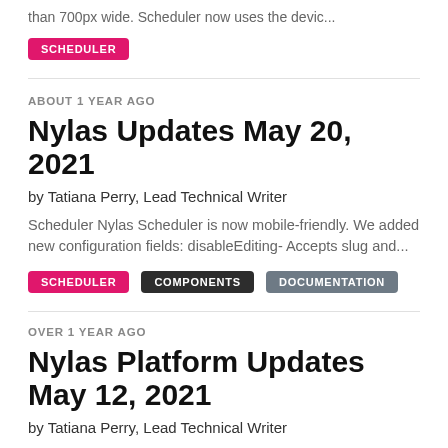than 700px wide. Scheduler now uses the devic...
SCHEDULER
ABOUT 1 YEAR AGO
Nylas Updates May 20, 2021
by Tatiana Perry, Lead Technical Writer
Scheduler Nylas Scheduler is now mobile-friendly. We added new configuration fields: disableEditing- Accepts slug and...
SCHEDULER
COMPONENTS
DOCUMENTATION
OVER 1 YEAR AGO
Nylas Platform Updates May 12, 2021
by Tatiana Perry, Lead Technical Writer